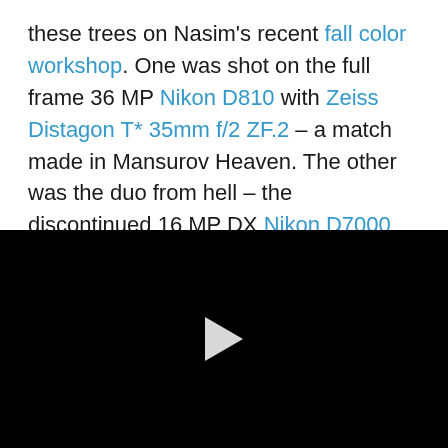these trees on Nasim's recent fall color workshop. One was shot on the full frame 36 MP Nikon D810 with Zeiss Distagon T* 35mm f/2 ZF.2 – a match made in Mansurov Heaven. The other was the duo from hell – the discontinued 16 MP DX Nikon D7000 sinfully saddled with a Nikkor 18-300mm superzoom, Photography Life's worst reviewed lens ever. I set up my tripod, framed the shots as equally as I could (zooming to 35mm equivalent on the loser lens), then snapped two frames. When I loaded them into Lightroom, the superzoom shot looked
[Figure (other): Black video player area with a white play button triangle in the center]